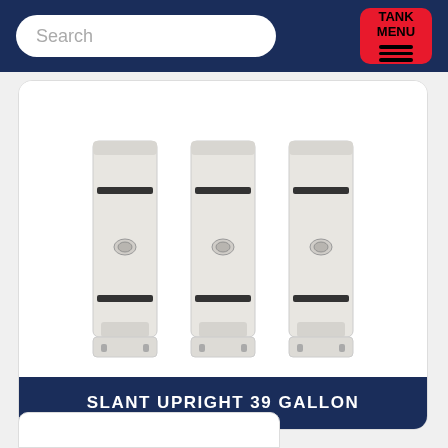Search | TANK MENU
[Figure (photo): Three white slant upright 39 gallon tanks displayed side by side]
SLANT UPRIGHT 39 GALLON